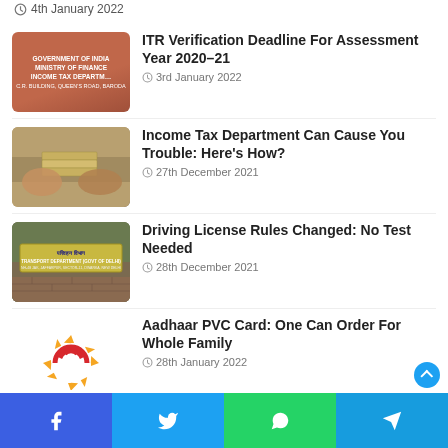4th January 2022
ITR Verification Deadline For Assessment Year 2020-21
Income Tax Department Can Cause You Trouble: Here's How?
Driving License Rules Changed: No Test Needed
Aadhaar PVC Card: One Can Order For Whole Family
Facebook | Twitter | WhatsApp | Telegram